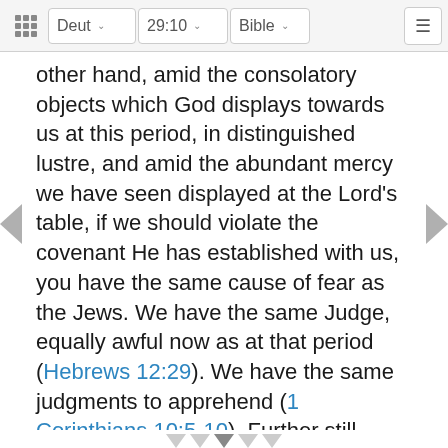Deut  29:10  Bible
other hand, amid the consolatory objects which God displays towards us at this period, in distinguished lustre, and amid the abundant mercy we have seen displayed at the Lord's table, if we should violate the covenant He has established with us, you have the same cause of fear as the Jews. We have the same Judge, equally awful now as at that period (Hebrews 12:29). We have the same judgments to apprehend (1 Corinthians 10:5-10). Further still, whatever superiority our condition may have over the Jews; in whatever more attracting manner He may have now revealed Himself to us, will serve only to augment our misery if we prove unfaithful (Hebrews 2:2, 3; Hebrews 12:18-25). Hence the principle respecting the legal and evangelical covenant is indisputable. The covenant God formerly contracted with the Israelites by the ministry of Moses and the covenant He has made with us in the covenant of the blood